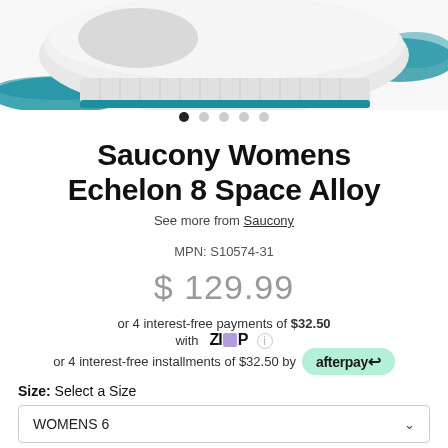[Figure (photo): Close-up of white Saucony Echelon 8 running shoe with teal/blue accents and ribbed midsole, photographed from the side on a white background.]
● ○ ○ ○ ○
Saucony Womens Echelon 8 Space Alloy
See more from Saucony
MPN: S10574-31
$ 129.99
or 4 interest-free payments of $32.50 with Zip ℹ
or 4 interest-free installments of $32.50 by afterpay
Size: Select a Size
WOMENS 6